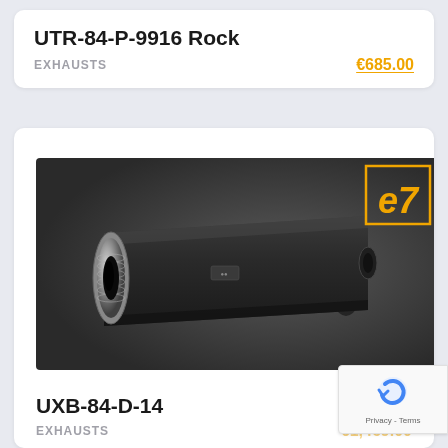UTR-84-P-9916 Rock
EXHAUSTS   €685.00
[Figure (photo): Black cylindrical motorcycle exhaust silencer with chrome end ring, photographed on a dark grey background. An e7 certification badge is overlaid in the top-right corner.]
UXB-84-D-14
EXHAUSTS